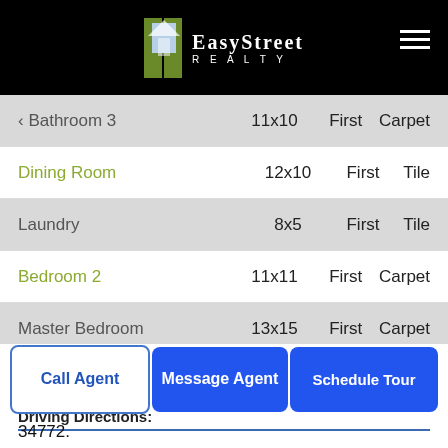EasyStreet Realty
| Room | Size | Floor | Type |
| --- | --- | --- | --- |
| Bathroom 3 | 11x10 | First | Carpet |
| Dining Room | 12x10 | First | Tile |
| Laundry | 8x5 | First | Tile |
| Bedroom 2 | 11x11 | First | Carpet |
| Master Bedroom | 13x15 | First | Carpet |
| Bedroom 4 | 11x12 | First | Carpet |
Driving Directions:
From Orlando, take I-4 W to Exit 77, For FL-91 S / Florida's Turnpike. Take Exit 240 towards Kissimmee Park Rd. Turn left onto Kissimmee Park Rd. Use the left two lanes to turn left onto Old Canoe Creek Road. In 0.4 miles turn right onto Nolte Rd. Southern Pines will be ahead 3.2 miles on your
34772.